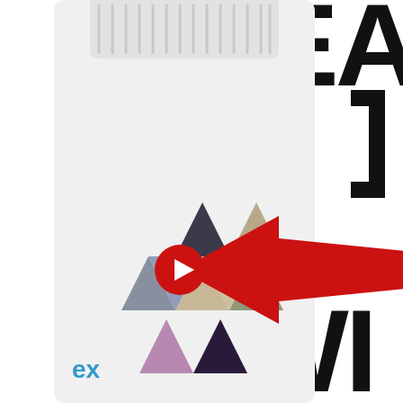[Figure (photo): A white supplement/health product bottle with a triangular mosaic pattern label showing various natural ingredients (berries, seeds, flowers). The cap is visible at the top. The text 'ex' is partially visible at the bottom left of the label. On the right side, large bold black text is partially visible reading 'EA' at top and 'WI' at bottom. A large red arrow pointing left toward the bottle is in the center-right area, with a red play button triangle symbol at the tip of the arrow.]